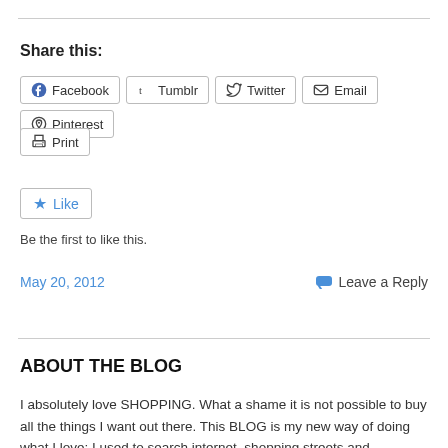Share this:
Facebook  Tumblr  Twitter  Email  Pinterest  Print
Like
Be the first to like this.
May 20, 2012    Leave a Reply
ABOUT THE BLOG
I absolutely love SHOPPING. What a shame it is not possible to buy all the things I want out there. This BLOG is my new way of doing what I love: I used to search internet, shopping streets and department stores